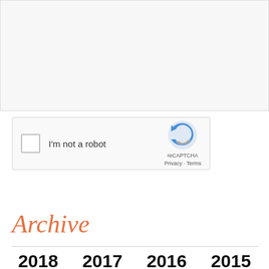[Figure (screenshot): reCAPTCHA widget with checkbox labeled I'm not a robot and the reCAPTCHA logo with Privacy and Terms links]
Submit
Archive
2018  2017  2016  2015